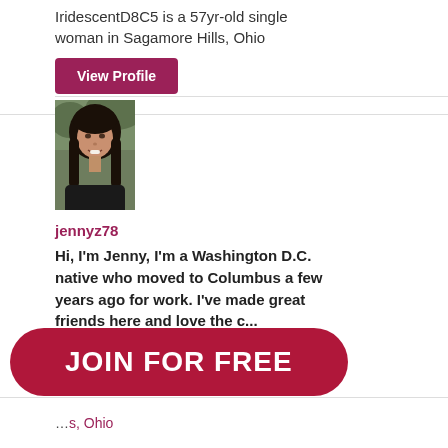IridescentD8C5 is a 57yr-old single woman in Sagamore Hills, Ohio
View Profile
[Figure (photo): Profile photo of jennyz78, a woman with long dark hair, smiling, wearing a dark top, outdoors with blurred green background]
jennyz78
Hi, I'm Jenny, I'm a Washington D.C. native who moved to Columbus a few years ago for work. I've made great friends here and love the c...
jennyz78 is a 37yr-old single woman in Columbus, Ohio
JOIN FOR FREE
s, Ohio